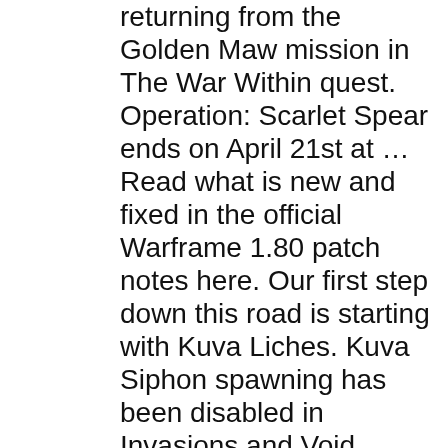returning from the Golden Maw mission in The War Within quest. Operation: Scarlet Spear ends on April 21st at … Read what is new and fixed in the official Warframe 1.80 patch notes here. Our first step down this road is starting with Kuva Liches. Kuva Siphon spawning has been disabled in Invasions and Void Fissure missions. TWW Golden Maw STUCK! Warframe : The War Within Walkthrough (Spoiler) Malam semuanya, hari ini saya akan memberikan sebuah walkthrough dari game Warframe. They possess two horizontal mandibles with which they grasp prey, and circular golden blades in the middle of the maw which rotates. On some derelict Orokin vessel at the edge of the Origin System ROB drops a single First Class Exterminator (from Blame!) Golden Maws spawn in sections where the floor is covered in bones, with protruding rock platforms that serve as safe zones. Jaws When not alerted by the player, Maws will move in predetermined circular patterns around multiple large rocks which are safe zones.